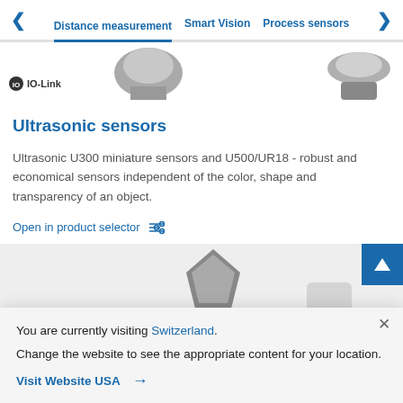Distance measurement | Smart Vision | Process sensors
[Figure (photo): Product images of ultrasonic sensors with IO-Link badge]
Ultrasonic sensors
Ultrasonic U300 miniature sensors and U500/UR18 - robust and economical sensors independent of the color, shape and transparency of an object.
Open in product selector
[Figure (photo): Lower section product image with blue button]
You are currently visiting Switzerland. Change the website to see the appropriate content for your location. Visit Website USA →